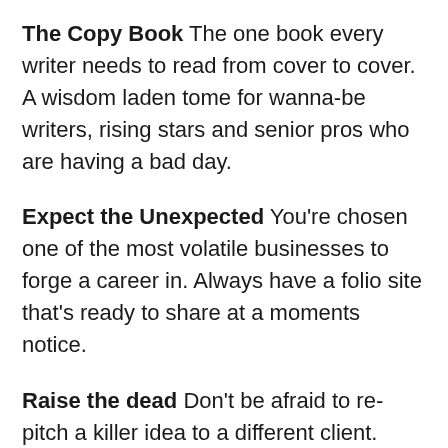The Copy Book The one book every writer needs to read from cover to cover. A wisdom laden tome for wanna-be writers, rising stars and senior pros who are having a bad day.
Expect the Unexpected You're chosen one of the most volatile businesses to forge a career in. Always have a folio site that's ready to share at a moments notice.
Raise the dead Don't be afraid to re-pitch a killer idea to a different client. Having said that, if it remains unsold after three attempts it may not be as great as you think it is.